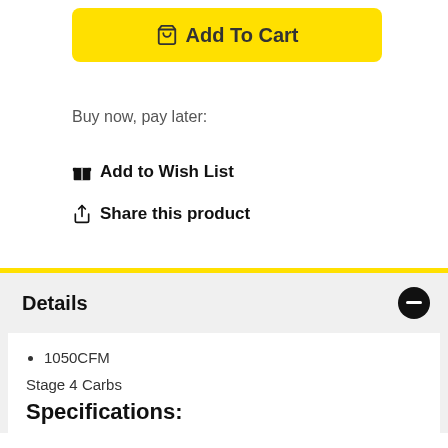Add To Cart
Buy now, pay later:
Add to Wish List
Share this product
Details
1050CFM
Stage 4 Carbs
Specifications: